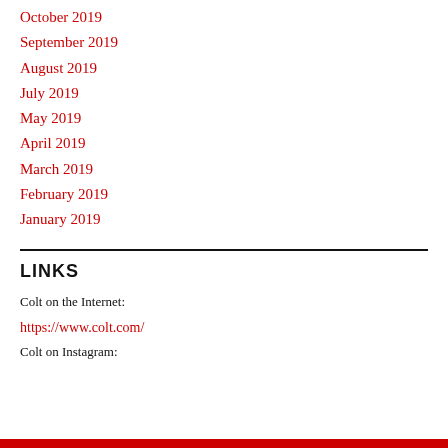October 2019
September 2019
August 2019
July 2019
May 2019
April 2019
March 2019
February 2019
January 2019
LINKS
Colt on the Internet:
https://www.colt.com/
Colt on Instagram: